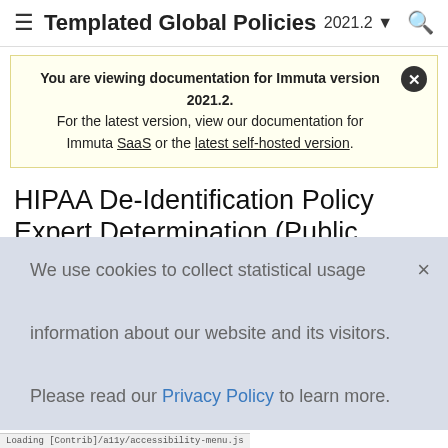≡  Templated Global Policies   2021.2 ▾  🔍
You are viewing documentation for Immuta version 2021.2. For the latest version, view our documentation for Immuta SaaS or the latest self-hosted version.
HIPAA De-Identification Policy Expert Determination (Public Preview)
HIPAA Expert Determination allows data scientists to increase utility of datasets while still complying with strict HIPAA regulations that require a "very low" re-identification
We use cookies to collect statistical usage information about our website and its visitors. Please read our Privacy Policy to learn more.
Loading [Contrib]/a11y/accessibility-menu.js